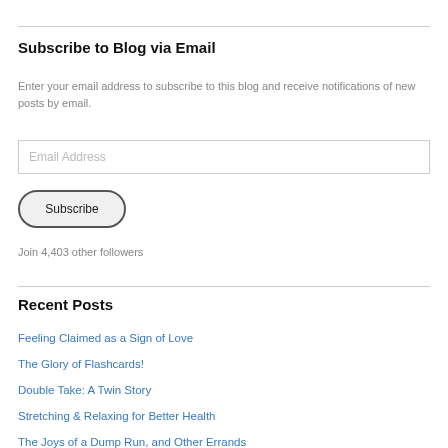Subscribe to Blog via Email
Enter your email address to subscribe to this blog and receive notifications of new posts by email.
Email Address
Subscribe
Join 4,403 other followers
Recent Posts
Feeling Claimed as a Sign of Love
The Glory of Flashcards!
Double Take: A Twin Story
Stretching & Relaxing for Better Health
The Joys of a Dump Run, and Other Errands